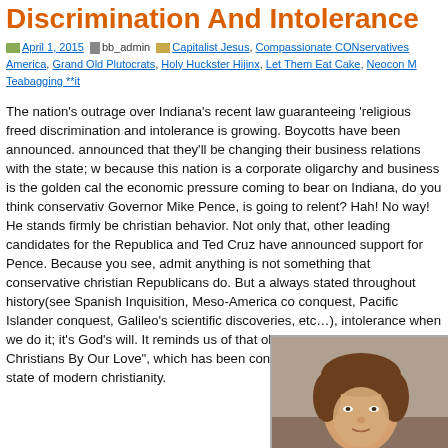Discrimination And Intolerance
April 1, 2015  bb_admin  Capitalist Jesus, Compassionate CONservatives America, Grand Old Plutocrats, Holy Huckster Hijinx, Let Them Eat Cake, Neocon M Teabagging **it
The nation's outrage over Indiana's recent law guaranteeing 'religious freed discrimination and intolerance is growing. Boycotts have been announced. announced that they'll be changing their business relations with the state; w because this nation is a corporate oligarchy and business is the golden cal the economic pressure coming to bear on Indiana, do you think conservativ Governor Mike Pence, is going to relent? Hah! No way! He stands firmly be christian behavior. Not only that, other leading candidates for the Republica and Ted Cruz have announced support for Pence. Because you see, admit anything is not something that conservative christian Republicans do. But a always stated throughout history(see Spanish Inquisition, Meso-America co conquest, Pacific Islander conquest, Galileo's scientific discoveries, etc...), intolerance when we do it; it's God's will. It reminds us of that old song we k Know We Are Christians By Our Love", which has been conveniently updat reflect the state of modern christianity.
[Figure (photo): Portrait photo of a person with brown hair against a neutral background]